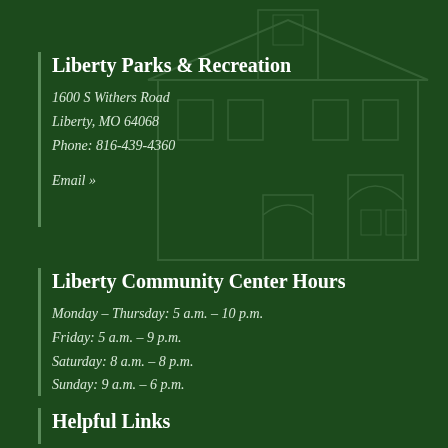Liberty Parks & Recreation
1600 S Withers Road
Liberty, MO 64068
Phone: 816-439-4360
Email »
Liberty Community Center Hours
Monday – Thursday: 5 a.m. – 10 p.m.
Friday: 5 a.m. – 9 p.m.
Saturday: 8 a.m. – 8 p.m.
Sunday: 9 a.m. – 6 p.m.
Helpful Links